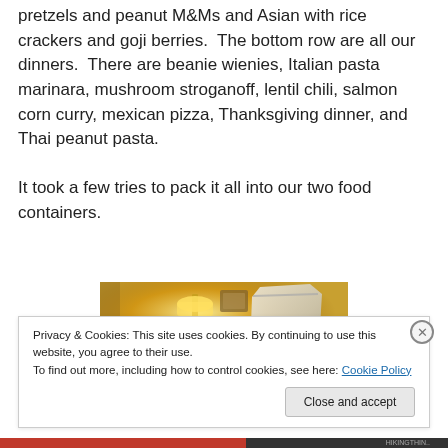pretzels and peanut M&Ms and Asian with rice crackers and goji berries.  The bottom row are all our dinners.  There are beanie wienies, Italian pasta marinara, mushroom stroganoff, lentil chili, salmon corn curry, mexican pizza, Thanksgiving dinner, and Thai peanut pasta.

It took a few tries to pack it all into our two food containers.
[Figure (photo): A photo of a room with warm yellow lamp light and a clear plastic zip-lock bag filled with food items, partially visible on the right side.]
Privacy & Cookies: This site uses cookies. By continuing to use this website, you agree to their use.
To find out more, including how to control cookies, see here: Cookie Policy
Close and accept